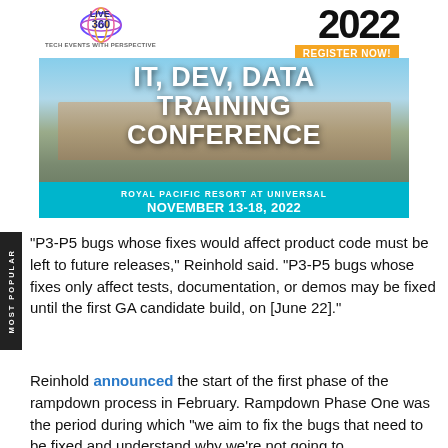[Figure (infographic): Live 360 Tech Events With Perspective conference banner for 2022 IT, Dev, Data Training Conference at Royal Pacific Resort at Universal, November 13-18, 2022, with Register Now button]
"P3-P5 bugs whose fixes would affect product code must be left to future releases," Reinhold said. "P3-P5 bugs whose fixes only affect tests, documentation, or demos may be fixed until the first GA candidate build, on [June 22]."
Reinhold announced the start of the first phase of the rampdown process in February. Rampdown Phase One was the period during which "we aim to fix the bugs that need to be fixed and understand why we're not going to